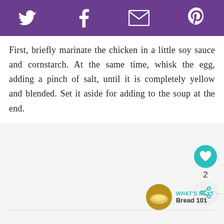Twitter Facebook Email Pinterest (social share icons)
First, briefly marinate the chicken in a little soy sauce and cornstarch. At the same time, whisk the egg, adding a pinch of salt, until it is completely yellow and blended. Set it aside for adding to the soup at the end.
[Figure (other): Like button (heart icon, teal circle) with count 2 and share button below]
[Figure (other): What's Next thumbnail showing a bread dish, labelled 'WHAT'S NEXT → Bread 101']